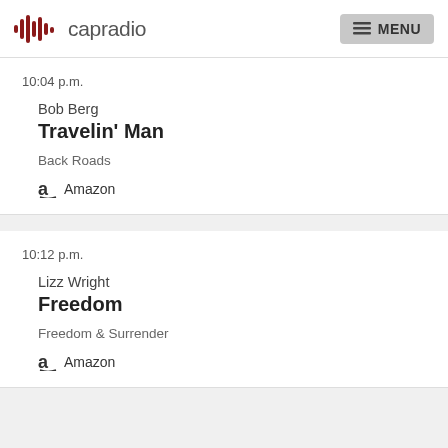capradio  MENU
10:04 p.m.
Bob Berg
Travelin' Man
Back Roads
Amazon
10:12 p.m.
Lizz Wright
Freedom
Freedom & Surrender
Amazon